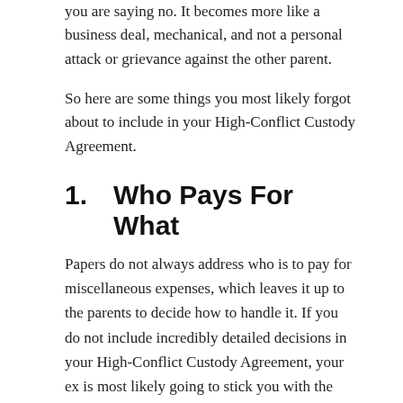you are saying no. It becomes more like a business deal, mechanical, and not a personal attack or grievance against the other parent.
So here are some things you most likely forgot about to include in your High-Conflict Custody Agreement.
1.      Who Pays For What
Papers do not always address who is to pay for miscellaneous expenses, which leaves it up to the parents to decide how to handle it. If you do not include incredibly detailed decisions in your High-Conflict Custody Agreement, your ex is most likely going to stick you with the bill, so think about:
Private School Expenses
Your child might not be attending private school currently but if there is a chance in the future you might